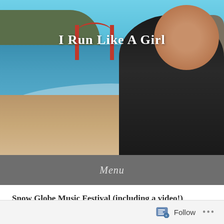[Figure (photo): Blog header photo: woman running on a beach near the Golden Gate Bridge in San Francisco, wearing black athletic wear, smiling, with the bay and hills in the background. Blog title 'I Run Like A Girl' overlaid in white text.]
I Run Like A Girl
Menu
Snow Globe Music Festival (including a video!)
Posted on January 3, 2018
Follow ...